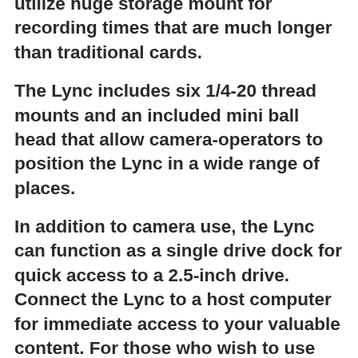utilize huge storage mount for recording times that are much longer than traditional cards.
The Lync includes six 1/4-20 thread mounts and an included mini ball head that allow camera-operators to position the Lync in a wide range of places.
In addition to camera use, the Lync can function as a single drive dock for quick access to a 2.5-inch drive. Connect the Lync to a host computer for immediate access to your valuable content. For those who wish to use 9.5mm HDDs within the Lync, simply remove the two SSD spacers.
The Lync is built using thick aluminum for durability and passive heat dissipation. The Lync is designed and supported in the USA and includes a 3 year warranty. USB-C (10Gbps), compatible with all USB &